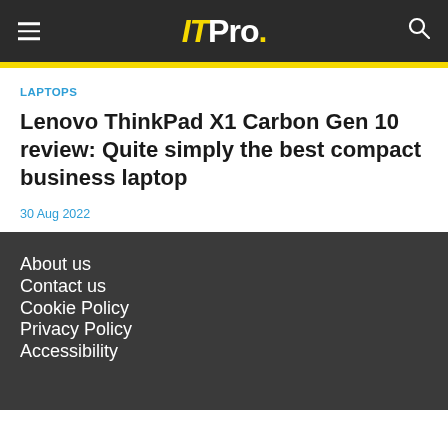ITPro.
LAPTOPS
Lenovo ThinkPad X1 Carbon Gen 10 review: Quite simply the best compact business laptop
30 Aug 2022
About us
Contact us
Cookie Policy
Privacy Policy
Accessibility